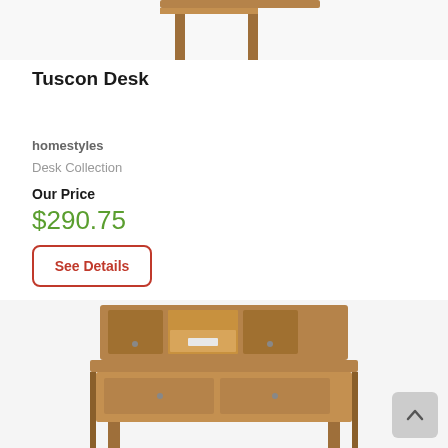[Figure (photo): Partial view of a wooden desk top corner, cropped at top of page]
Tuscon Desk
homestyles
Desk Collection
Our Price
$290.75
See Details
[Figure (photo): Wooden Tuscon Desk with hutch, featuring multiple drawers and open shelf compartments, in a warm brown wood finish]